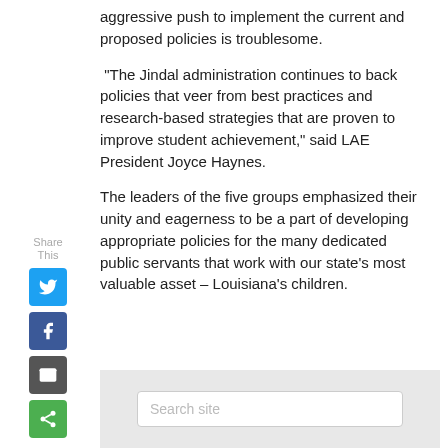aggressive push to implement the current and proposed policies is troublesome.
“The Jindal administration continues to back policies that veer from best practices and research-based strategies that are proven to improve student achievement,” said LAE President Joyce Haynes.
The leaders of the five groups emphasized their unity and eagerness to be a part of developing appropriate policies for the many dedicated public servants that work with our state’s most valuable asset – Louisiana’s children.
[Figure (infographic): Social share sidebar with Share This label and buttons for Twitter (blue), Facebook (dark blue), Email (grey), and Share (green)]
[Figure (screenshot): Search site input box on grey background]